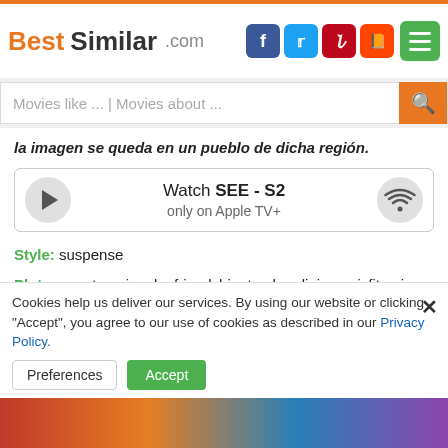BestSimilar.com
la imagen se queda en un pueblo de dicha región.
[Figure (other): Watch SEE - S2 only on Apple TV+ media player widget with play button and wifi icon]
Style: suspense
Plot: gangsters, jungle, friendship, truck, religion, misfit, crime boss, faith, on the road, destiny, journey, card playing, gambler, sculptor, friend, shooting, drink, statue, drinking alcohol, wood carving, street market, metaphor, virgin mary statue, drinking, gangster ...
Place: bolivia
Cookies help us deliver our services. By using our website or clicking "Accept", you agree to our use of cookies as described in our Privacy Policy.